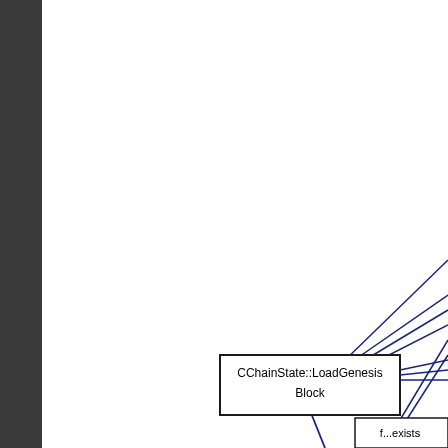[Figure (flowchart): Partial flowchart/call-graph diagram showing nodes connected by directed arrows (dark blue lines with arrowheads). Visible node: 'CChainState::LoadGenesisBlock' (rectangular box with border, in lower-center area). Several lines radiate from upper-right (off-screen) into this node and beyond. A partial node is visible at the bottom-right corner labeled 'f...exists'. The left side of the image has a dark gray vertical sidebar/margin.]